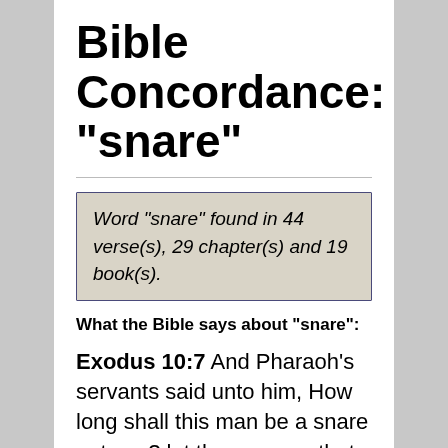Bible Concordance: "snare"
Word "snare" found in 44 verse(s), 29 chapter(s) and 19 book(s).
What the Bible says about "snare":
Exodus 10:7  And Pharaoh's servants said unto him, How long shall this man be a snare unto us? let the men go, that they may serve the LORD their